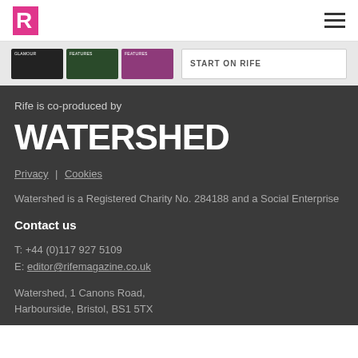R (Rife logo) | hamburger menu
[Figure (screenshot): Screenshot strip showing three thumbnail images and a play banner with partial text]
Rife is co-produced by
WATERSHED
Privacy | Cookies
Watershed is a Registered Charity No. 284188 and a Social Enterprise
Contact us
T: +44 (0)117 927 5109
E: editor@rifemagazine.co.uk
Watershed, 1 Canons Road, Harbourside, Bristol, BS1 5TX